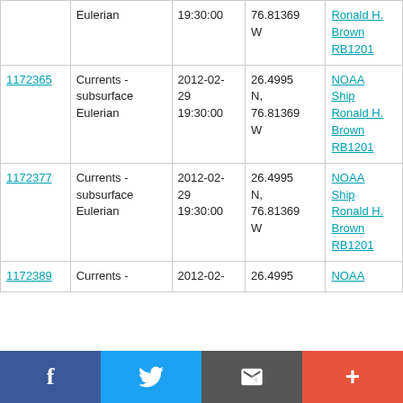| ID | Type | Date/Time | Location | Platform |
| --- | --- | --- | --- | --- |
| (partial row above) | Eulerian | 19:30:00 | 76.81369 W | Ronald H. Brown RB1201 |
| 1172365 | Currents - subsurface Eulerian | 2012-02-29 19:30:00 | 26.4995 N, 76.81369 W | NOAA Ship Ronald H. Brown RB1201 |
| 1172377 | Currents - subsurface Eulerian | 2012-02-29 19:30:00 | 26.4995 N, 76.81369 W | NOAA Ship Ronald H. Brown RB1201 |
| 1172389 | Currents - | 2012-02- | 26.4995 | NOAA |